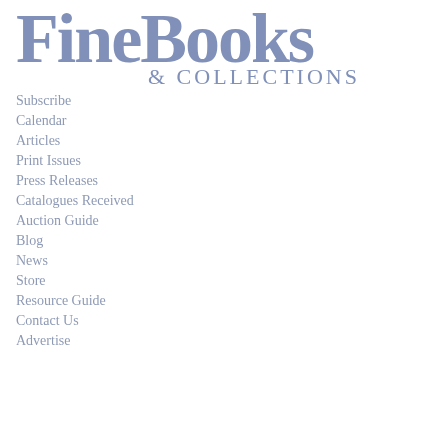[Figure (logo): Fine Books & Collections logo in blue-grey serif font]
Subscribe
Calendar
Articles
Print Issues
Press Releases
Catalogues Received
Auction Guide
Blog
News
Store
Resource Guide
Contact Us
Advertise